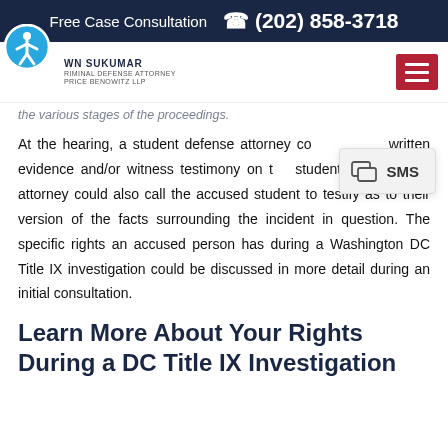Free Case Consultation  (202) 858-3718
[Figure (logo): Dawn Sukumar Criminal Defense Attorney Price Benowitz LLP logo with navigation bar and hamburger menu]
the various stages of the proceedings.
At the hearing, a student defense attorney could present written evidence and/or witness testimony on the student's behalf. The attorney could also call the accused student to testify as to their version of the facts surrounding the incident in question. The specific rights an accused person has during a Washington DC Title IX investigation could be discussed in more detail during an initial consultation.
Learn More About Your Rights During a DC Title IX Investigation